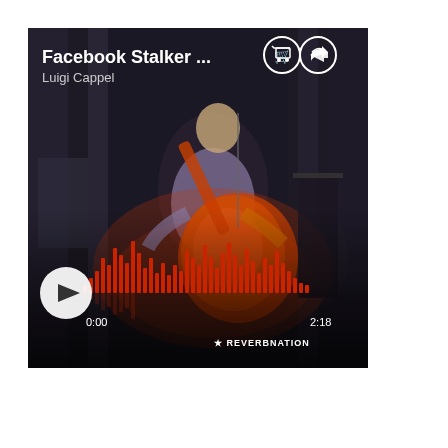[Figure (screenshot): ReverbNation music player widget showing a song titled 'Facebook Stalker ...' by Luigi Cappel. The background shows a dark concert photo of a musician playing guitar on stage with orange stage lighting. The player UI shows a waveform visualizer with red bars, a white play button circle on the left, time display showing 0:00 and 2:18, buy and share icon buttons, and REVERBNATION branding logo at bottom right.]